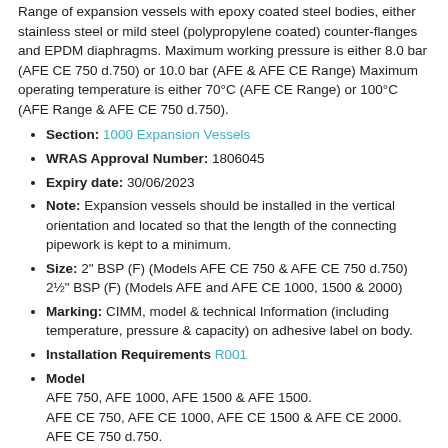Range of expansion vessels with epoxy coated steel bodies, either stainless steel or mild steel (polypropylene coated) counter-flanges and EPDM diaphragms. Maximum working pressure is either 8.0 bar (AFE CE 750 d.750) or 10.0 bar (AFE & AFE CE Range) Maximum operating temperature is either 70°C (AFE CE Range) or 100°C (AFE Range & AFE CE 750 d.750).
Section: 1000 Expansion Vessels
WRAS Approval Number: 1806045
Expiry date: 30/06/2023
Note: Expansion vessels should be installed in the vertical orientation and located so that the length of the connecting pipework is kept to a minimum.
Size: 2" BSP (F) (Models AFE CE 750 & AFE CE 750 d.750) 2½" BSP (F) (Models AFE and AFE CE 1000, 1500 & 2000)
Marking: CIMM, model & technical Information (including temperature, pressure & capacity) on adhesive label on body.
Installation Requirements R001
Model
AFE 750, AFE 1000, AFE 1500 & AFE 1500.
AFE CE 750, AFE CE 1000, AFE CE 1500 & AFE CE 2000.
AFE CE 750 d.750.
Manufacturer: CIMM Spa View All Listings by this Company